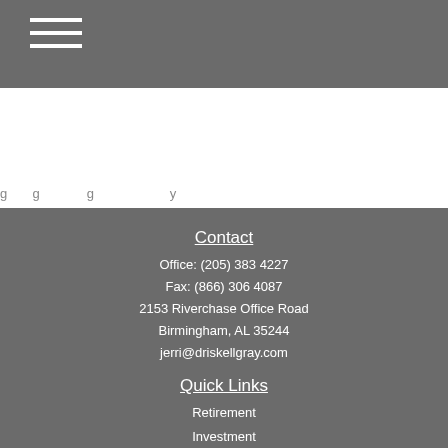[Figure (other): Hamburger menu icon with three horizontal white lines on gray background]
up assets to invest.
Contact
Office: (205) 383 4227
Fax: (866) 306 4087
2153 Riverchase Office Road
Birmingham, AL 35244
jerri@driskellgray.com
Quick Links
Retirement
Investment
Estate
Tax
Money